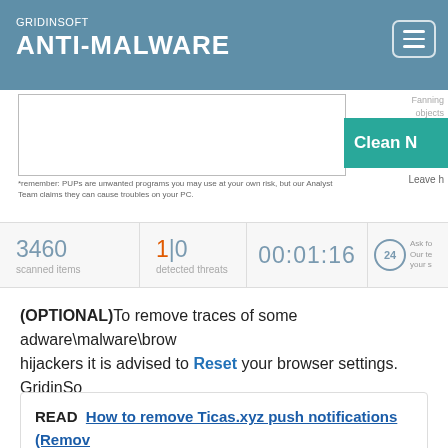GRIDINSOFT ANTI-MALWARE
[Figure (screenshot): GridinSoft Anti-Malware scanner interface showing scan results area, Clean Now button, scanned items count 3460, detected threats 1|0, time 00:01:16, and Ask support icon]
(OPTIONAL) To remove traces of some adware\malware\browser hijackers it is advised to Reset your browser settings. GridinSoft Anti-Malware allows you to do that with flexible options.
READ  How to remove Ticas.xyz push notifications (Remove Guides).